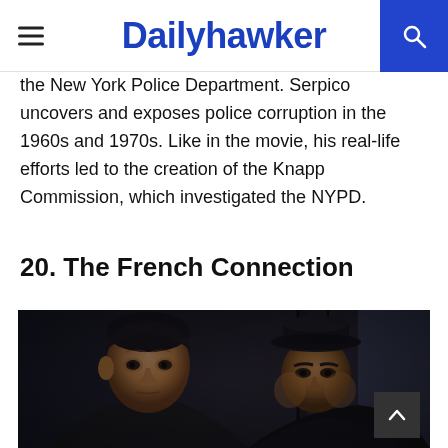Dailyhawker
the New York Police Department. Serpico uncovers and exposes police corruption in the 1960s and 1970s. Like in the movie, his real-life efforts led to the creation of the Knapp Commission, which investigated the NYPD.
20. The French Connection
[Figure (photo): Two men seated in a car interior: a younger man in the foreground looking anxious, and an older man in a dark hat in the background, both in dim cinematic lighting. Scene from The French Connection.]